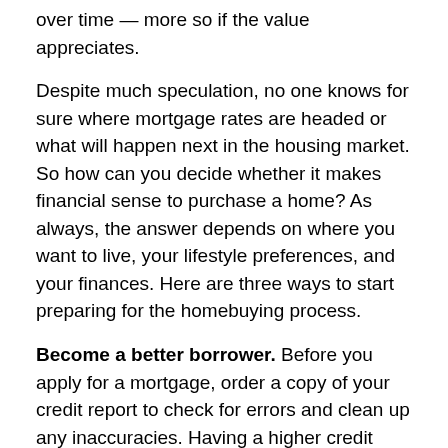over time — more so if the value appreciates.
Despite much speculation, no one knows for sure where mortgage rates are headed or what will happen next in the housing market. So how can you decide whether it makes financial sense to purchase a home? As always, the answer depends on where you want to live, your lifestyle preferences, and your finances. Here are three ways to start preparing for the homebuying process.
Become a better borrower. Before you apply for a mortgage, order a copy of your credit report to check for errors and clean up any inaccuracies. Having a higher credit score could earn you a lower interest rate.
Save up for a down payment. Buyers must typically invest 20% of the purchase price for conventional mortgages, but some loan programs allow smaller down payments of 5% to 10%. If parents or other family members offer to “gift” cash for a down payment, lenders may ask for a letter to document the source of funds.